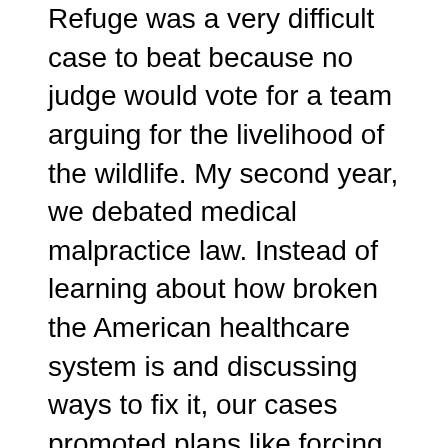Refuge was a very difficult case to beat because no judge would vote for a team arguing for the livelihood of the wildlife. My second year, we debated medical malpractice law. Instead of learning about how broken the American healthcare system is and discussing ways to fix it, our cases promoted plans like forcing traumatized patients into mandatory mediation with their negligent providers. This provided economic advantages for the legal system. My third year, we debated illegal immigration. Rather than learning about the human rights abuses under US immigration policy, we had cases promoting ways to crack down on employment verification. The year we debated about Russia, I learned practically nothing about the complexity of the large country.
Overall, we learned to discuss political and philosophical topics in a heartless way. We debated